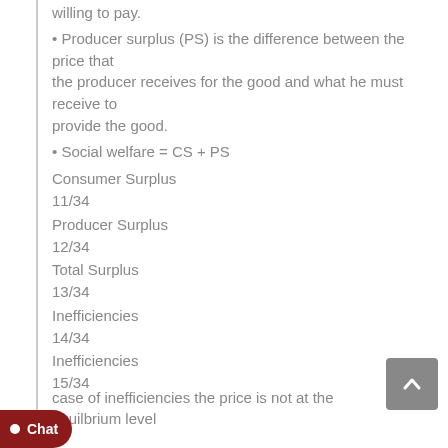Producer surplus (PS) is the difference between the price that the producer receives for the good and what he must receive to provide the good.
Social welfare = CS + PS
Consumer Surplus
11/34
Producer Surplus
12/34
Total Surplus
13/34
Inefficiencies
14/34
Inefficiencies
15/34
case of inefficiencies the price is not at the equilbrium level